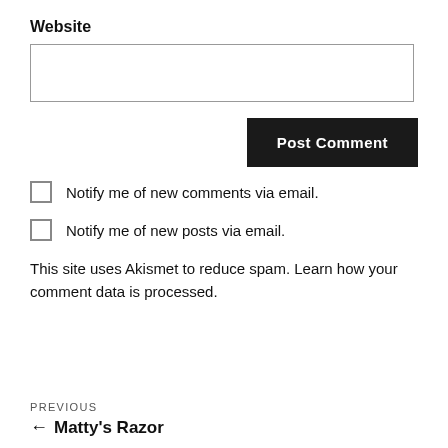Website
Post Comment
Notify me of new comments via email.
Notify me of new posts via email.
This site uses Akismet to reduce spam. Learn how your comment data is processed.
PREVIOUS
← Matty's Razor